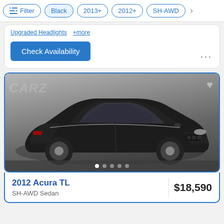Filter | Black | 2013+ | 2012+ | SH-AWD
Upgraded Headlights  +more
Check Availability
[Figure (photo): Black 2012 Acura TL SH-AWD Sedan, front three-quarter view on gray studio background, with watermark logo]
2012 Acura TL
SH-AWD Sedan
$18,590